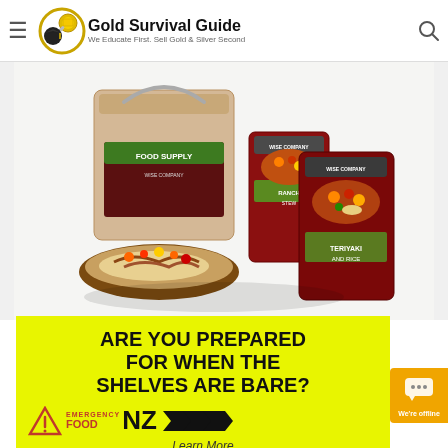Gold Survival Guide — We Educate First. Sell Gold & Silver Second
[Figure (photo): Wise Company emergency food supply bucket and meal pouches (Teriyaki and Rice, Ranch Stew) with a plate of food including grilled vegetables and rice]
[Figure (infographic): Yellow banner advertisement: ARE YOU PREPARED FOR WHEN THE SHELVES ARE BARE? Emergency Food NZ logo with chevron arrows and Learn More text]